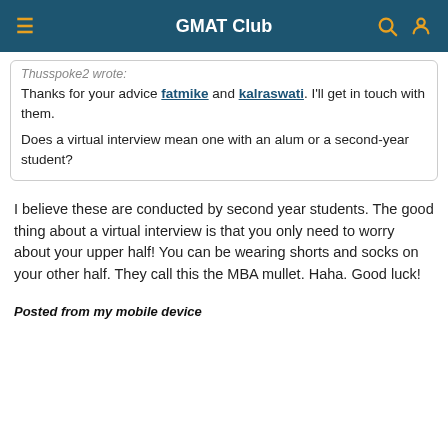GMAT Club
Thusspoke2 wrote:
Thanks for your advice fatmike and kalraswati. I'll get in touch with them.
Does a virtual interview mean one with an alum or a second-year student?
I believe these are conducted by second year students. The good thing about a virtual interview is that you only need to worry about your upper half! You can be wearing shorts and socks on your other half. They call this the MBA mullet. Haha. Good luck!
Posted from my mobile device